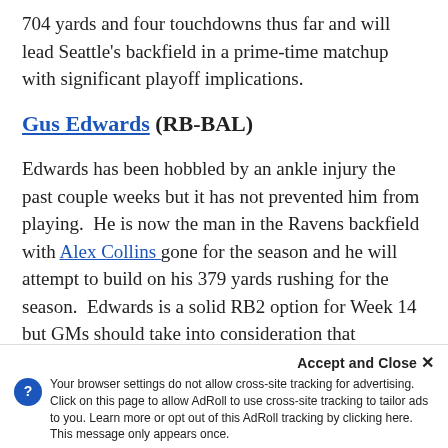704 yards and four touchdowns thus far and will lead Seattle's backfield in a prime-time matchup with significant playoff implications.
Gus Edwards (RB-BAL)
Edwards has been hobbled by an ankle injury the past couple weeks but it has not prevented him from playing.  He is now the man in the Ravens backfield with Alex Collins gone for the season and he will attempt to build on his 379 yards rushing for the season.  Edwards is a solid RB2 option for Week 14 but GMs should take into consideration that Baltimore will likely need to pass the ball more frequently given they are going up against one of the league's best offenses.
Accept and Close ×
Your browser settings do not allow cross-site tracking for advertising. Click on this page to allow AdRoll to use cross-site tracking to tailor ads to you. Learn more or opt out of this AdRoll tracking by clicking here. This message only appears once.